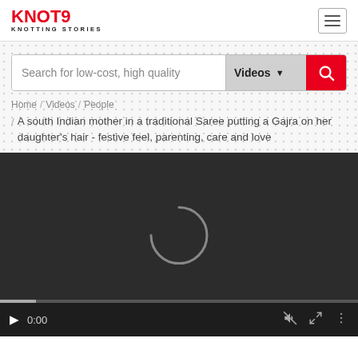KNOT9 KNOTTING STORIES
Search for low-cost, high quality | Videos ▾ [search]
Home / Videos / People / A south Indian mother in a traditional Saree putting a Gajra on her daughter's hair - festive feel, parenting, care and love
[Figure (screenshot): Video player showing a dark screen with a loading spinner (arc) in the center. Controls at the bottom show play button, 0:00 timestamp, mute icon, fullscreen icon, and more options icon. A progress bar is at the very bottom.]